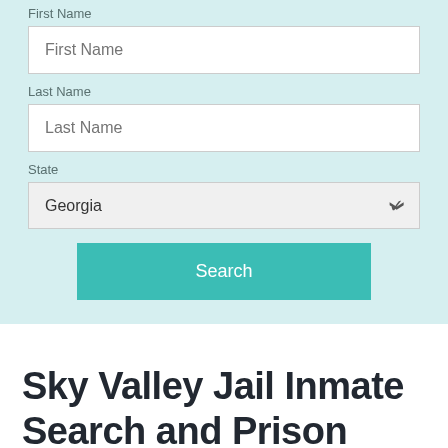First Name
First Name
Last Name
Last Name
State
Georgia
Search
Sky Valley Jail Inmate Search and Prison Information
Updated on: June 2, 2022